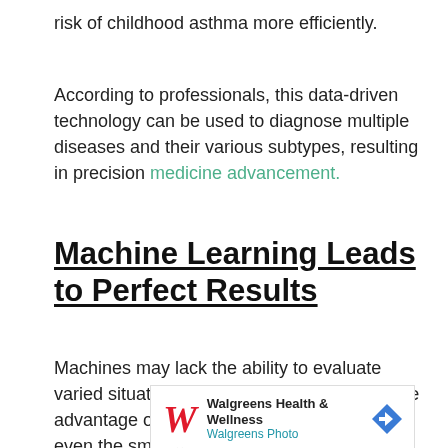risk of childhood asthma more efficiently.
According to professionals, this data-driven technology can be used to diagnose multiple diseases and their various subtypes, resulting in precision medicine advancement.
Machine Learning Leads to Perfect Results
Machines may lack the ability to evaluate varied situations like us humans. But its prime advantage over us is its quality of pinpointing even the smallest of errors.
[Figure (other): Walgreens Health & Wellness advertisement banner with Walgreens Photo tagline and logo]